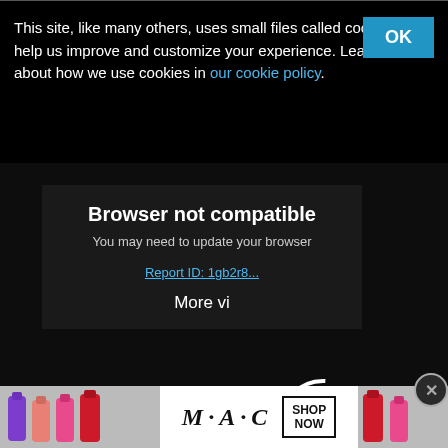This site, like many others, uses small files called cookies to help us improve and customize your experience. Learn more about how we use cookies in our cookie policy.
OK
Browser not compatible
You may need to update your browser
Report ID: 1gb2r8...
More vi
Carl Frampton vs. Nonito Donaire 2018-...
47:02
Zolani Tete vs Omar Andres Narvaez 2018-...
40
CLOSE
Amir Kha Greco Fu
[Figure (screenshot): MAC cosmetics advertisement banner with lipstick products, MAC logo and SHOP NOW button]